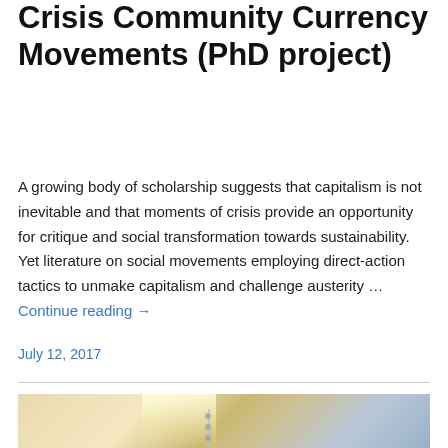Crisis Community Currency Movements (PhD project)
A growing body of scholarship suggests that capitalism is not inevitable and that moments of crisis provide an opportunity for critique and social transformation towards sustainability. Yet literature on social movements employing direct-action tactics to unmake capitalism and challenge austerity … Continue reading →
July 12, 2017
[Figure (photo): Photograph showing what appears to be a light-colored curved surface or vehicle exterior, with warm yellowish lighting and metallic/riveted panel seams visible.]